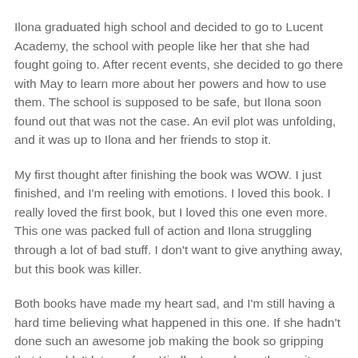Ilona graduated high school and decided to go to Lucent Academy, the school with people like her that she had fought going to. After recent events, she decided to go there with May to learn more about her powers and how to use them. The school is supposed to be safe, but Ilona soon found out that was not the case. An evil plot was unfolding, and it was up to Ilona and her friends to stop it.
My first thought after finishing the book was WOW. I just finished, and I'm reeling with emotions. I loved this book. I really loved the first book, but I loved this one even more. This one was packed full of action and Ilona struggling through a lot of bad stuff. I don't want to give anything away, but this book was killer.
Both books have made my heart sad, and I'm still having a hard time believing what happened in this one. If she hadn't done such an awesome job making the book so gripping that I couldn't let go of my Kindle, I may have thrown it.